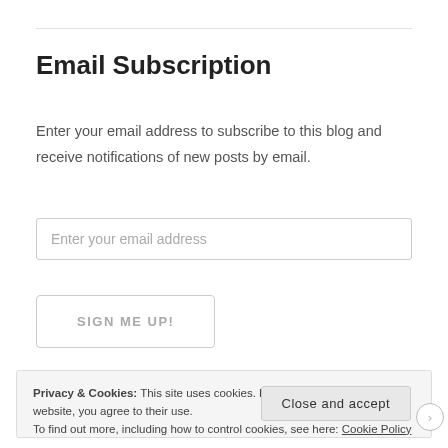Email Subscription
Enter your email address to subscribe to this blog and receive notifications of new posts by email.
Enter your email address
SIGN ME UP!
Privacy & Cookies: This site uses cookies. By continuing to use this website, you agree to their use.
To find out more, including how to control cookies, see here: Cookie Policy
Close and accept